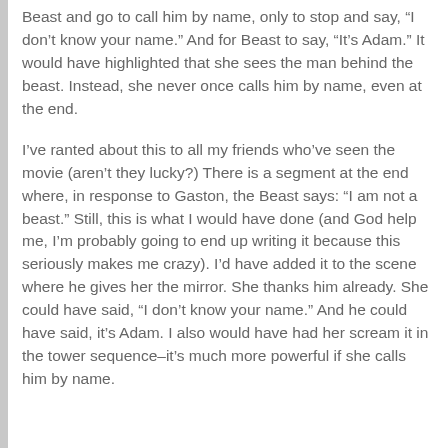Beast and go to call him by name, only to stop and say, “I don’t know your name.” And for Beast to say, “It’s Adam.” It would have highlighted that she sees the man behind the beast. Instead, she never once calls him by name, even at the end.
I’ve ranted about this to all my friends who’ve seen the movie (aren’t they lucky?) There is a segment at the end where, in response to Gaston, the Beast says: “I am not a beast.” Still, this is what I would have done (and God help me, I’m probably going to end up writing it because this seriously makes me crazy). I’d have added it to the scene where he gives her the mirror. She thanks him already. She could have said, “I don’t know your name.” And he could have said, it’s Adam. I also would have had her scream it in the tower sequence–it’s much more powerful if she calls him by name.